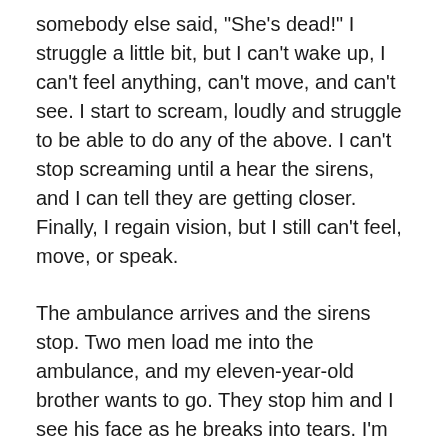somebody else said, "She's dead!" I struggle a little bit, but I can't wake up, I can't feel anything, can't move, and can't see. I start to scream, loudly and struggle to be able to do any of the above. I can't stop screaming until a hear the sirens, and I can tell they are getting closer. Finally, I regain vision, but I still can't feel, move, or speak.
The ambulance arrives and the sirens stop. Two men load me into the ambulance, and my eleven-year-old brother wants to go. They stop him and I see his face as he breaks into tears. I'm finally able to speak, "It's ok. Maybe Dad can bring you to see me." Then, they close the doors and rush me to the emergency room.
Upon my arrival, there is nothing medically to find other than the obvious - signs that I had lost control